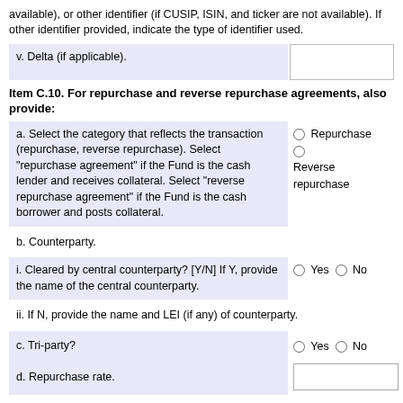available), or other identifier (if CUSIP, ISIN, and ticker are not available). If other identifier provided, indicate the type of identifier used.
v. Delta (if applicable).
Item C.10. For repurchase and reverse repurchase agreements, also provide:
a. Select the category that reflects the transaction (repurchase, reverse repurchase). Select "repurchase agreement" if the Fund is the cash lender and receives collateral. Select "reverse repurchase agreement" if the Fund is the cash borrower and posts collateral.
b. Counterparty.
i. Cleared by central counterparty? [Y/N] If Y, provide the name of the central counterparty.
ii. If N, provide the name and LEI (if any) of counterparty.
c. Tri-party?
d. Repurchase rate.